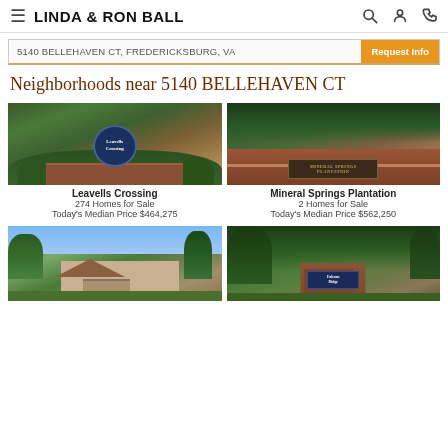LINDA & RON BALL
5140 BELLEHAVEN CT, FREDERICKSBURG, VA
Neighborhoods near 5140 BELLEHAVEN CT
[Figure (photo): Leavells Crossing neighborhood entrance sign with circular blue sign and brick wall surrounded by greenery]
Leavells Crossing
274 Homes for Sale
Today's Median Price $464,275
[Figure (photo): Mineral Springs Plantation neighborhood entrance with brick monument sign surrounded by landscaping]
Mineral Springs Plantation
2 Homes for Sale
Today's Median Price $562,250
[Figure (photo): Neighborhood entrance with brick home and trees]
[Figure (photo): Falcons Ridge neighborhood entrance sign with trees]